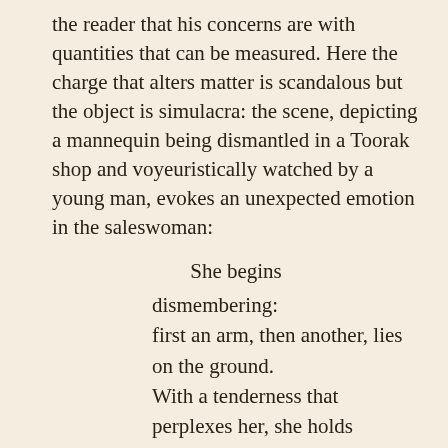the reader that his concerns are with quantities that can be measured. Here the charge that alters matter is scandalous but the object is simulacra: the scene, depicting a mannequin being dismantled in a Toorak shop and voyeuristically watched by a young man, evokes an unexpected emotion in the saleswoman:
She begins
dismembering:
first an arm, then another, lies on the ground.
With a tenderness that perplexes her, she holds
a head in her lap. She could almost cry.